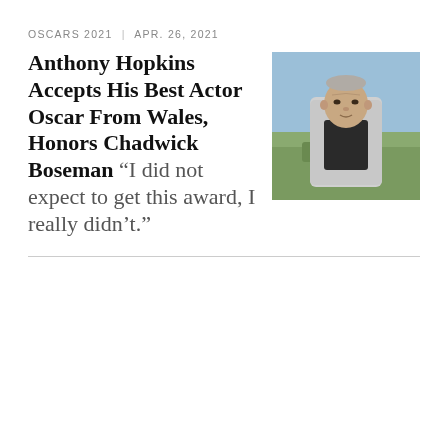OSCARS 2021 | APR. 26, 2021
Anthony Hopkins Accepts His Best Actor Oscar From Wales, Honors Chadwick Boseman “I did not expect to get this award, I really didn’t.”
[Figure (photo): Anthony Hopkins standing outdoors with fields and sky in the background, wearing a dark top and light jacket, looking into the camera.]